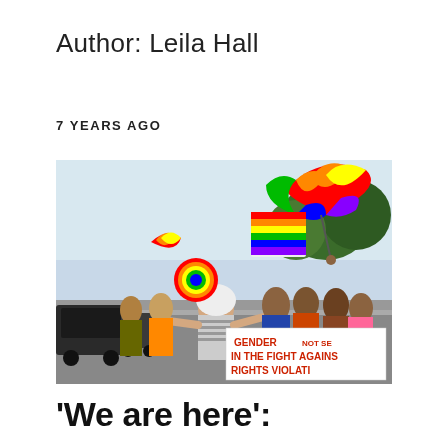Author: Leila Hall
7 YEARS AGO
[Figure (photo): A street march/parade with people holding rainbow-colored umbrellas, signs, and a banner reading 'GENDER... IN THE FIGHT AGAINST RIGHTS VIOLATI...' — a pride or rights march in an African city setting with cars visible on the left.]
‘We are here’: